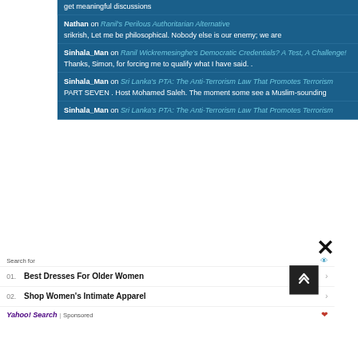get meaningful discussions
Nathan on Ranil's Perilous Authoritarian Alternative
srikrish, Let me be philosophical. Nobody else is our enemy; we are
Sinhala_Man on Ranil Wickremesinghe's Democratic Credentials? A Test, A Challenge!
Thanks, Simon, for forcing me to qualify what I have said. .
Sinhala_Man on Sri Lanka's PTA: The Anti-Terrorism Law That Promotes Terrorism
PART SEVEN . Host Mohamed Saleh. The moment some see a Muslim-sounding
Sinhala_Man on Sri Lanka's PTA: The Anti-Terrorism Law That Promotes Terrorism
Search for
01. Best Dresses For Older Women
02. Shop Women's Intimate Apparel
Yahoo! Search | Sponsored